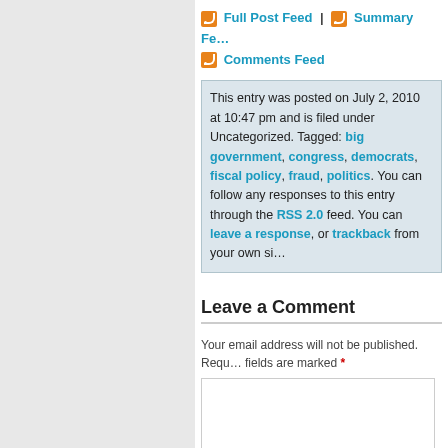Full Post Feed | Summary Feed | Comments Feed
This entry was posted on July 2, 2010 at 10:47 pm and is filed under Uncategorized. Tagged: big government, congress, democrats, fiscal policy, fraud, politics. You can follow any responses to this entry through the RSS 2.0 feed. You can leave a response, or trackback from your own site.
Leave a Comment
Your email address will not be published. Required fields are marked *
Name *